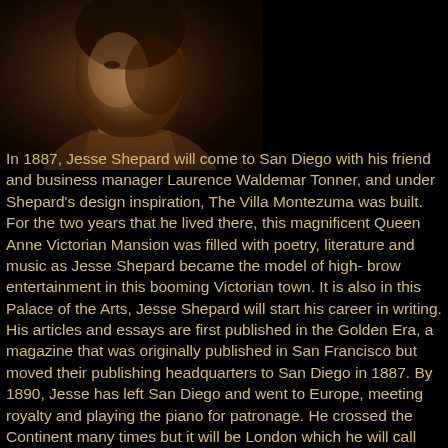[Figure (photo): Sepia-toned historical portrait photograph of Jesse Shepard, showing the subject from roughly the chest up, facing slightly to the right, against a dark background.]
In 1887, Jesse Shepard will come to San Diego with his friend and business manager Laurence Waldemar Tonner, and under Shepard's design inspiration, The Villa Montezuma was built. For the two years that he lived there, this magnificent Queen Anne Victorian Mansion was filled with poetry, literature and music as Jesse Shepard became the model of high- brow entertainment in this booming Victorian town. It is also in this Palace of the Arts, Jesse Shepard will start his career in writing. His articles and essays are first published in the Golden Era, a magazine that was originally published in San Francisco but moved their publishing headquarters to San Diego in 1887. By 1890, Jesse has left San Diego and went to Europe, meeting royalty and playing the piano for patronage. He crossed the Continent many times but it will be London which he will call home in 1896. There he is will publish